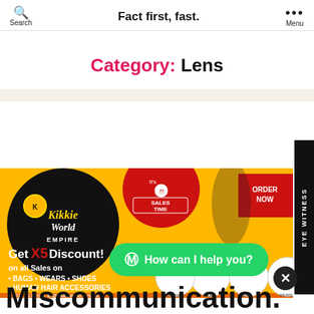Search  Fact first, fast.  Menu
Category: Lens
[Figure (infographic): KikkieWorld Empire advertisement banner: yellow background with red and black circles. Text reads 'It's SALES TIME', 'Get X5 Discount! on all Sales on BAGS WEARS SHOES HUMAN HAIR ACCESSORIES', contact: '0818 817 1635', '@kikkieworld_empire', 'ORDER NOW'. Shows circular product images of shoes, bags, wears, human hairs.]
How can I help you?
Miscommunication.